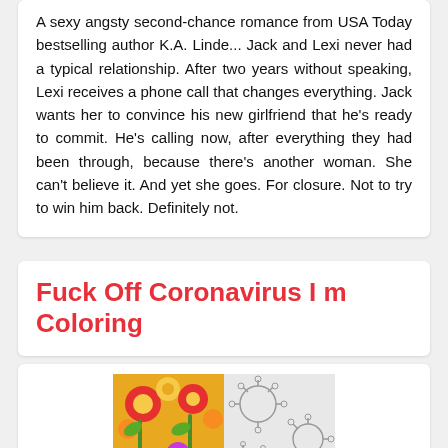A sexy angsty second-chance romance from USA Today bestselling author K.A. Linde... Jack and Lexi never had a typical relationship. After two years without speaking, Lexi receives a phone call that changes everything. Jack wants her to convince his new girlfriend that he's ready to commit. He's calling now, after everything they had been through, because there's another woman. She can't believe it. And yet she goes. For closure. Not to try to win him back. Definitely not.
Fuck Off Coronavirus I m Coloring
[Figure (photo): Book cover for 'Fuck Off, Coronavirus, I'm Coloring!' showing a split image: left side is colored with bright flowers and birds, right side is uncolored line art of coronavirus particles. Text overlay reads 'F*CK OFF, CORONAVIRUS. FOR COLORING!']